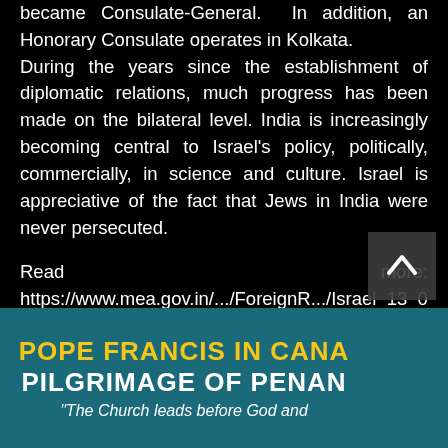became Consulate-General. In addition, an Honorary Consulate operates in Kolkata.
During the years since the establishment of diplomatic relations, much progress has been made on the bilateral level. India is increasingly becoming central to Israel's policy, politically, commercially, in science and culture. Israel is appreciative of the fact that Jews in India were never persecuted.
Read more:
https://www.mea.gov.in/.../ForeignR.../Israel_13_01_2016.pdf
#UnitedNations #UNHumanRights #antisematic #Israel #india
[Figure (screenshot): Bottom banner with teal background showing 'POPE FRANCIS IN CANADA PILGRIMAGE OF PENAN...' in bold yellow and white text with italic subtext starting 'The Church leads before God and...'. A yellow circular chat button and a grey scroll-to-top button are overlaid on the right side.]